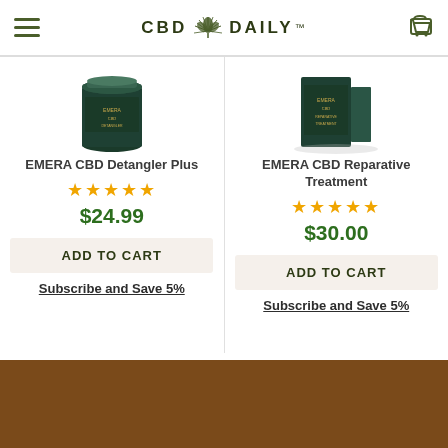CBD Daily
[Figure (photo): Product image of EMERA CBD Detangler Plus - dark green cylindrical container]
EMERA CBD Detangler Plus
★★★★★
$24.99
ADD TO CART
Subscribe and Save 5%
[Figure (photo): Product image of EMERA CBD Reparative Treatment - dark green box packaging]
EMERA CBD Reparative Treatment
★★★★★
$30.00
ADD TO CART
Subscribe and Save 5%